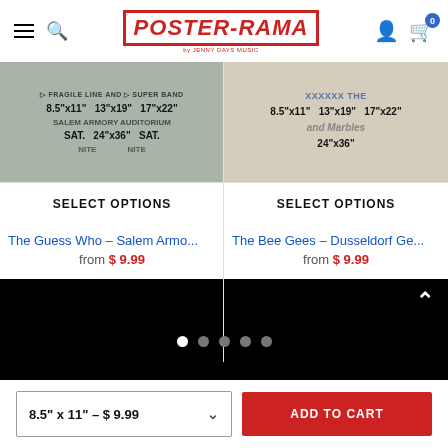Poster-Rama
[Figure (screenshot): Product image for The Guess Who Salem Armory poster showing size options 8.5x11, 13x19, 17x22, 24x36]
SELECT OPTIONS
The Guess Who - Salem Armo...
from $9.99
[Figure (screenshot): Product image for The Bee Gees Dusseldorf poster showing size options 8.5x11, 13x19, 17x22, 24x36]
SELECT OPTIONS
The Bee Gees - Dusseldorf Ge...
from $9.99
8.5" x 11" - $9.99
ADD TO CART